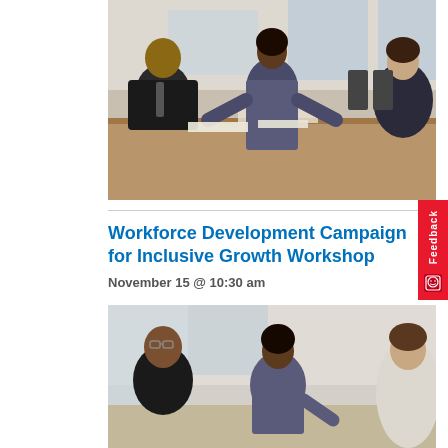[Figure (photo): Business meeting photo: a woman in a gray blazer stands at a conference table with arms extended, speaking to seated colleagues in a bright office setting]
Workforce Development Campaign for Inclusive Growth Workshop
November 15 @ 10:30 am
[Figure (photo): Second business meeting photo: same scene, woman in gray blazer speaking with a man with glasses and another person in a corridor or bright room]